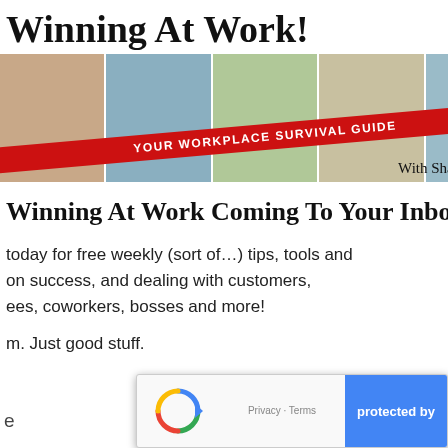urnal
[Figure (screenshot): Modal popup overlay for 'Winning At Work!' newsletter signup, featuring a banner image with 5 people photos, a red diagonal ribbon reading 'YOUR WORKPLACE SURVIVAL GUIDE', byline 'With Shaun Belding']
Winning At Work!
Winning At Work Coming To Your Inbox?
today for free weekly (sort of…) tips, tools and on success, and dealing with customers, ees, coworkers, bosses and more!
m. Just good stuff.
[Figure (logo): reCAPTCHA widget showing spinning arrows logo, Privacy · Terms text, and 'protected by' blue label]